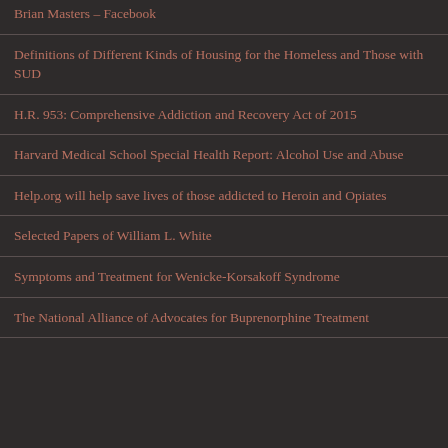Brian Masters – Facebook
Definitions of Different Kinds of Housing for the Homeless and Those with SUD
H.R. 953: Comprehensive Addiction and Recovery Act of 2015
Harvard Medical School Special Health Report: Alcohol Use and Abuse
Help.org will help save lives of those addicted to Heroin and Opiates
Selected Papers of William L. White
Symptoms and Treatment for Wenicke-Korsakoff Syndrome
The National Alliance of Advocates for Buprenorphine Treatment